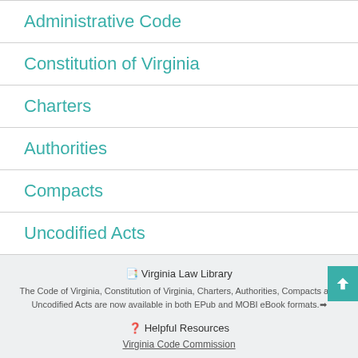Administrative Code
Constitution of Virginia
Charters
Authorities
Compacts
Uncodified Acts
Virginia Law Library
The Code of Virginia, Constitution of Virginia, Charters, Authorities, Compacts and Uncodified Acts are now available in both EPub and MOBI eBook formats.
Helpful Resources
Virginia Code Commission